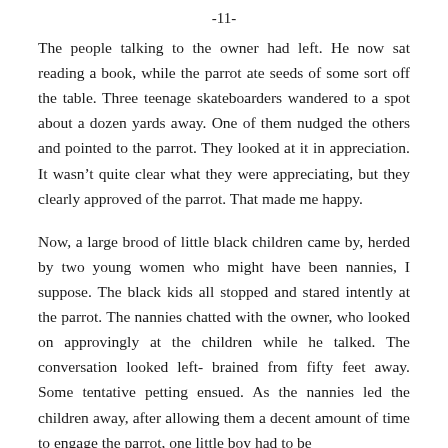-11-
The people talking to the owner had left. He now sat reading a book, while the parrot ate seeds of some sort off the table. Three teenage skateboarders wandered to a spot about a dozen yards away. One of them nudged the others and pointed to the parrot. They looked at it in appreciation. It wasn’t quite clear what they were appreciating, but they clearly approved of the parrot. That made me happy.
Now, a large brood of little black children came by, herded by two young women who might have been nannies, I suppose. The black kids all stopped and stared intently at the parrot. The nannies chatted with the owner, who looked on approvingly at the children while he talked. The conversation looked left-brained from fifty feet away. Some tentative petting ensued. As the nannies led the children away, after allowing them a decent amount of time to engage the parrot, one little boy had to be